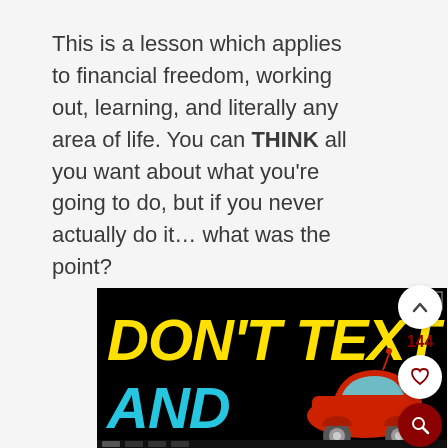This is a lesson which applies to financial freedom, working out, learning, and literally any area of life. You can THINK all you want about what you're going to do, but if you never actually do it… what was the point?
[Figure (other): Advertisement banner with black background. Yellow bold italic text 'DON'T TEXT' on top line, cyan bold italic text 'AND' with a red cartoon car illustration on second line. A small X close button is in the top right corner. Footer has app store icons.]